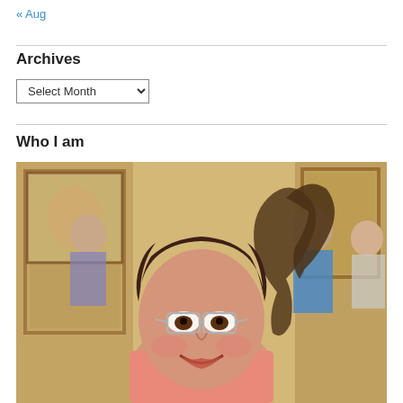« Aug
Archives
Select Month
Who I am
[Figure (photo): A smiling woman with short brown hair and glasses wearing a salmon/pink top and dark scarf, photographed in an ornate room with paintings on the walls and a dark bronze sculpture visible to her right; other people visible in background.]